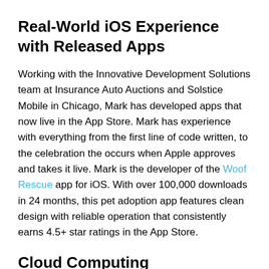Real-World iOS Experience with Released Apps
Working with the Innovative Development Solutions team at Insurance Auto Auctions and Solstice Mobile in Chicago, Mark has developed apps that now live in the App Store. Mark has experience with everything from the first line of code written, to the celebration the occurs when Apple approves and takes it live. Mark is the developer of the Woof Rescue app for iOS. With over 100,000 downloads in 24 months, this pet adoption app features clean design with reliable operation that consistently earns 4.5+ star ratings in the App Store.
Cloud Computing
Mark has past experience with SQL-based databases, but typically works with no-SQL data services such as Parse.com for rapid development, especially on